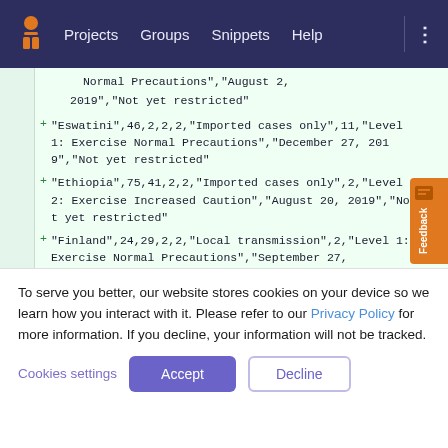Projects  Groups  Snippets  Help
[Figure (screenshot): GitLab code diff view showing lines 41-43 with added lines for Eswatini, Ethiopia, and Finland CSV data entries]
To serve you better, our website stores cookies on your device so we learn how you interact with it. Please refer to our Privacy Policy for more information. If you decline, your information will not be tracked.
Cookies settings
Accept
Decline